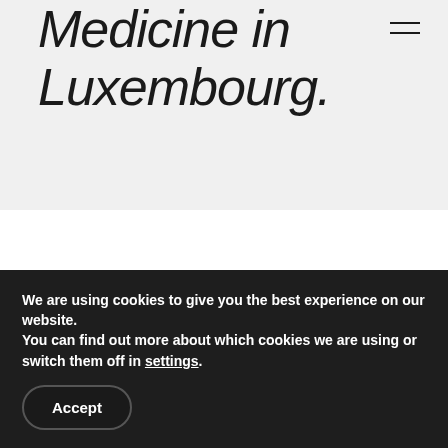Medicine in Luxembourg.
Read More →
We are using cookies to give you the best experience on our website.
You can find out more about which cookies we are using or switch them off in settings.
Accept